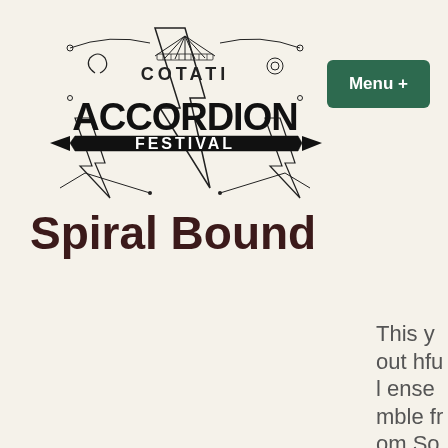[Figure (logo): Cotati Accordion Festival logo with decorative text and accordion illustration, lightning bolts and ornamental design]
Menu +
Spiral Bound
This youthful ensemble from Sonoma